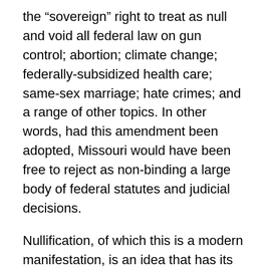the “sovereign” right to treat as null and void all federal law on gun control; abortion; climate change; federally-subsidized health care; same-sex marriage; hate crimes; and a range of other topics. In other words, had this amendment been adopted, Missouri would have been free to reject as non-binding a large body of federal statutes and judicial decisions.
Nullification, of which this is a modern manifestation, is an idea that has its origins in the efforts of the Southern planter class of the 1820’s and 1830’s to defend slavery against an encroaching federal government. In 1832, the federal government tried to enforce a tariff in South Carolina that posed a threat to the profitability of the slave-based cotton trade that formed the cornerstone of that State’s economy.